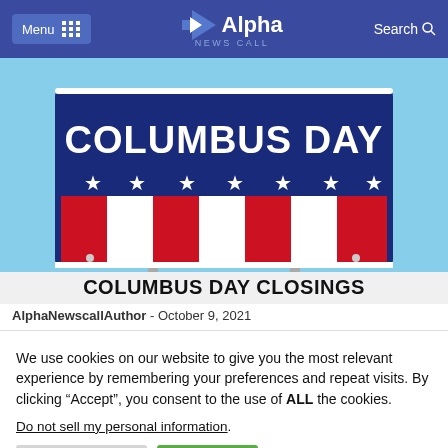Menu  Alpha News Call  Search
[Figure (photo): Columbus Day road sign with American flag design (red, white, blue stripes and stars) with text 'COLUMBUS DAY' at top and 'COLUMBUS DAY CLOSINGS' caption below on white background]
AlphaNewscallAuthor  -  October 9, 2021
We use cookies on our website to give you the most relevant experience by remembering your preferences and repeat visits. By clicking “Accept”, you consent to the use of ALL the cookies.
Do not sell my personal information.
Cookie Settings   Accept